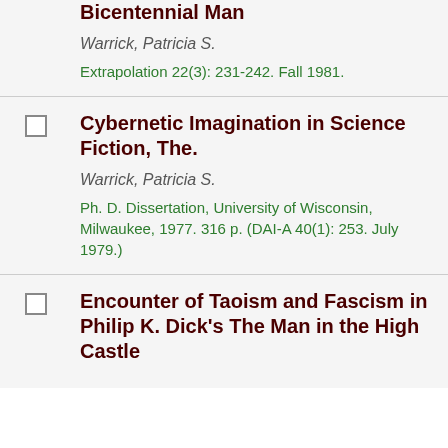Bicentennial Man
Warrick, Patricia S.
Extrapolation 22(3): 231-242. Fall 1981.
Cybernetic Imagination in Science Fiction, The.
Warrick, Patricia S.
Ph. D. Dissertation, University of Wisconsin, Milwaukee, 1977. 316 p. (DAI-A 40(1): 253. July 1979.)
Encounter of Taoism and Fascism in Philip K. Dick's The Man in the High Castle